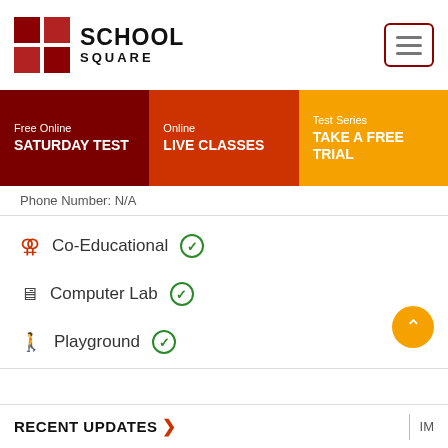[Figure (logo): School Square logo with red grid squares and bold text SCHOOL SQUARE]
[Figure (other): Hamburger menu button with dark red border]
[Figure (infographic): Navigation bar with three sections: Free Online SATURDAY TEST (dark red), Online LIVE CLASSES (orange-red), Test Series TAKE A FREE TRIAL (orange)]
Phone Number: N/A
Co-Educational ✓
Computer Lab ✓
Playground ✓
RECENT UPDATES > | IM